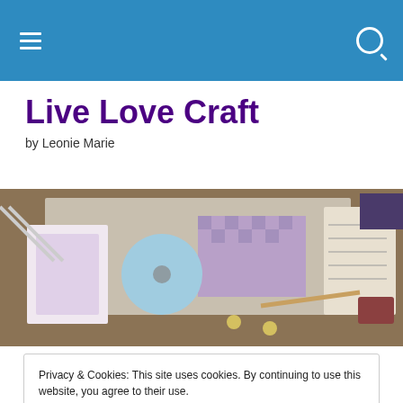Navigation header bar with hamburger menu and search icon
Live Love Craft
by Leonie Marie
[Figure (photo): A craft desk with handmade cards, patterned papers, a CD, scissors, buttons, pencils and rubber stamps in purple and blue tones]
Privacy & Cookies: This site uses cookies. By continuing to use this website, you agree to their use.
To find out more, including how to control cookies, see here: Cookie Policy
Close and accept